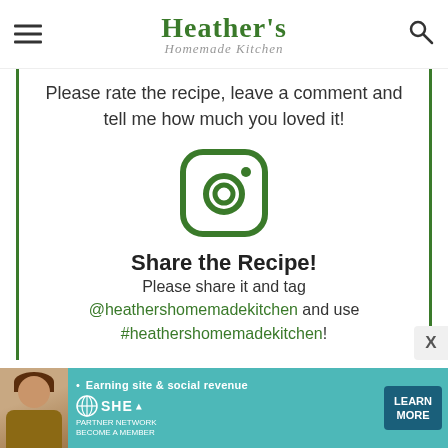Heather's Homemade Kitchen
Please rate the recipe, leave a comment and tell me how much you loved it!
[Figure (logo): Instagram icon in green outline style — rounded square with circle and dot]
Share the Recipe!
Please share it and tag @heathershomemadekitchen and use #heathershomemadekitchen!
[Figure (infographic): SHE Partner Network advertisement banner with teal background, woman photo, text 'Earning site & social revenue', SHE logo, and 'LEARN MORE' button]